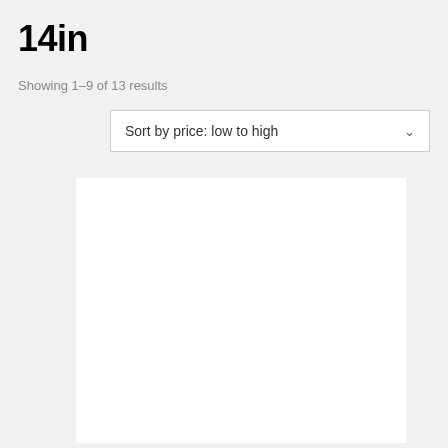14in
Showing 1–9 of 13 results
[Figure (screenshot): Sort by price: low to high dropdown selector with chevron arrow]
[Figure (other): White product card placeholder]